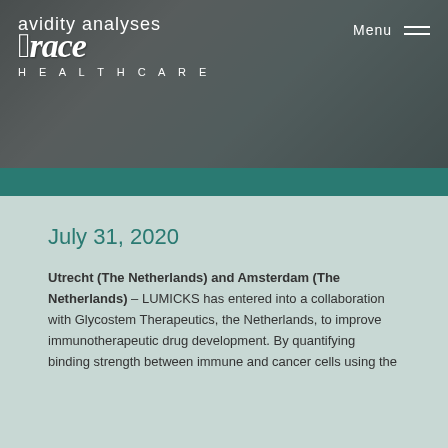[Figure (logo): Avidity Analyses / Grace Healthcare logo with stylized script and HEALTHCARE text in white on dark background]
Menu ≡
July 31, 2020
Utrecht (The Netherlands) and Amsterdam (The Netherlands) – LUMICKS has entered into a collaboration with Glycostem Therapeutics, the Netherlands, to improve immunotherapeutic drug development. By quantifying binding strength between immune and cancer cells using the